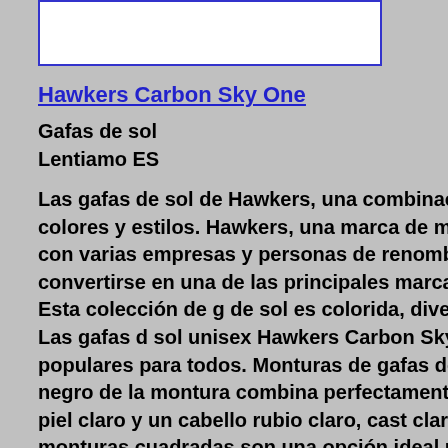[Figure (other): White rectangle image placeholder with blue border]
Hawkers Carbon Sky One
Gafas de sol
Lentiamo ES
Las gafas de sol de Hawkers, una combinación inf de colores y estilos. Hawkers, una marca de moda coopera con varias empresas y personas de renombre, aspira a convertirse en una de las principales marcas del futuro. Esta colección de g de sol es colorida, divertida y original. Las gafas d sol unisex Hawkers Carbon Sky One son muy populares para todos. Monturas de gafas de sol El color negro de la montura combina perfectamente un tono de piel claro y un cabello rubio claro, cast claro o negro. Las monturas cuadradas son una opción ideal para quienes tienen una forma de car redonda, ovalada o triangular. La montura de las g de sol está hecha de pasta de alta calidad, que ofr una gran durabilidad, comodidad de uso y un aspe